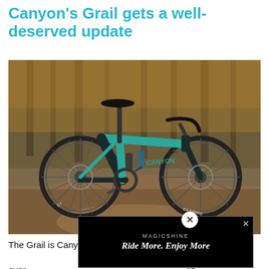Canyon's Grail gets a well-deserved update
[Figure (photo): A Canyon Grail gravel bike in teal/dark colorway parked on a dirt path surrounded by autumn trees with fallen leaves. The bike features DT Swiss wheels, drop handlebars, and disc brakes.]
The Grail is Canyon's gravel bike that's loved for its [versatility] over [rough terrain], though, and [it has been updated] the s[ame]...